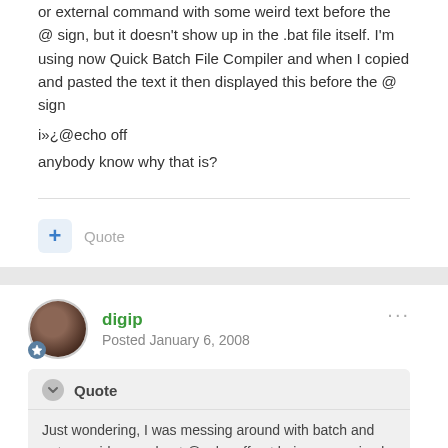or external command with some weird text before the @ sign, but it doesn't show up in the .bat file itself. I'm using now Quick Batch File Compiler and when I copied and pasted the text it then displayed this before the @ sign
i»¿@echo off
anybody know why that is?
Quote
digip
Posted January 6, 2008
Quote
Just wondering, I was messing around with batch and got a werid error about @echo off not being recognized as a internal or external command with some weird text before